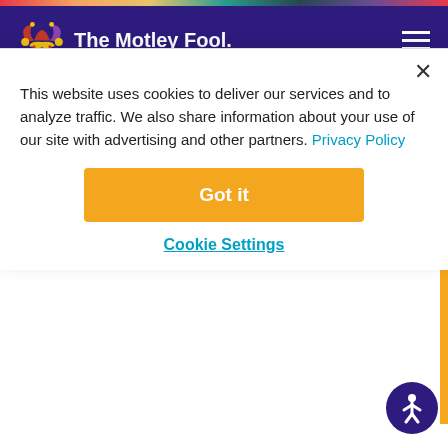The Motley Fool
FREE ARTICLE  Join Over 1 Million Premium Members And Get More In-Depth Stock Guidance and Research
Is This Cubist's Biggest Opportunity?
This website uses cookies to deliver our services and to analyze traffic. We also share information about your use of our site with advertising and other partners. Privacy Policy
Got it
Cookie Settings